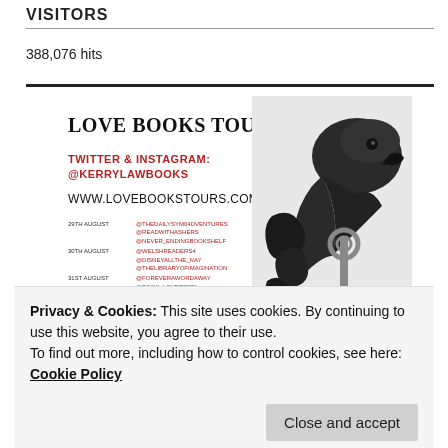VISITORS
388,076 hits
[Figure (infographic): Love Books Tours promotional banner with black dragon/key decorative image on the right side. Text: LOVE BOOKS TOURS, TWITTER & INSTAGRAM: @KERRYLAWBOOKS, WWW.LOVEBOOKSTOURS.COM, schedule listing dates in August and September with social media handles.]
Privacy & Cookies: This site uses cookies. By continuing to use this website, you agree to their use.
To find out more, including how to control cookies, see here: Cookie Policy
Close and accept